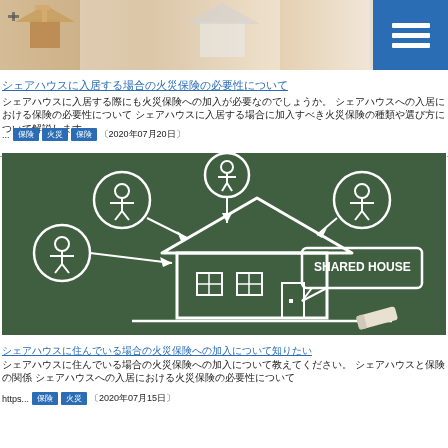[Figure (photo): Top banner image showing wooden house models with a plus sign, blurred white background — real estate / insurance themed]
シェアハウスに入居する場合の火災保険の必要性について
シェアハウスに入居する際にも火災保険への加入が必要なのでしょうか。 シェアハウスへの入居における保険の必要性について シェアハウスに入居する場合に加入すべき火災保険の種類や選び方について解説します。
... 【保険】 【火災】 【保険】 〔2020年07月20日〕
[Figure (illustration): Chalkboard illustration showing a house icon with multiple person icons in circles connected by arrows pointing toward the house, with a speech bubble reading SHARED HOUSE and a chalk piece at the bottom right]
シェアハウスに住んでいる場合の火災保険への加入について知りたい
シェアハウスに住んでいる場合の火災保険への加入について教えてください。 シェアハウスと保険の関係 シェアハウスへの入居における火災保険の必要性について
https... 【保険】 【火災】 〔2020年07月15日〕